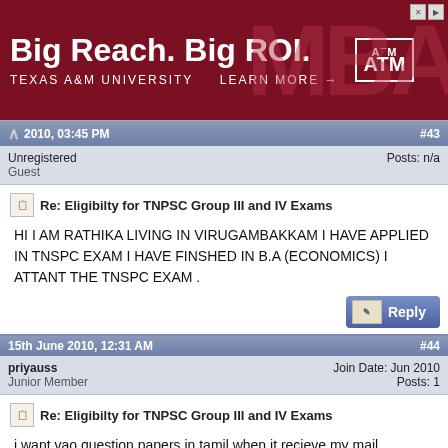[Figure (other): Texas A&M University MBA advertisement banner. Text: Big Reach. Big ROI. TEXAS A&M UNIVERSITY LEARN MORE →. Logo with ATM crest. Large MBA letters in background.]
2010, 03:45 PM   #43
Unregistered
Guest   Posts: n/a
Re: Eligibilty for TNPSC Group III and IV Exams
HI I AM RATHIKA LIVING IN VIRUGAMBAKKAM I HAVE APPLIED IN TNSPC EXAM I HAVE FINSHED IN B.A (ECONOMICS) I ATTANT THE TNSPC EXAM .
15th June 2010, 12:31 AM   #44
priyauss
Junior Member   Join Date: Jun 2010   Posts: 1
Re: Eligibilty for TNPSC Group III and IV Exams
i want vao question papers in tamil when it recieve my mail
15th June 2010, 02:05 PM   #45
Unregistered   Posts: n/a